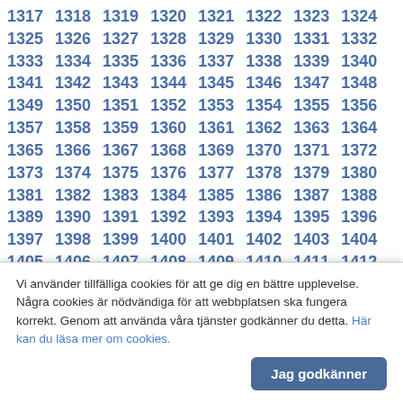1317 1318 1319 1320 1321 1322 1323 1324 1325 1326 1327 1328 1329 1330 1331 1332 1333 1334 1335 1336 1337 1338 1339 1340 1341 1342 1343 1344 1345 1346 1347 1348 1349 1350 1351 1352 1353 1354 1355 1356 1357 1358 1359 1360 1361 1362 1363 1364 1365 1366 1367 1368 1369 1370 1371 1372 1373 1374 1375 1376 1377 1378 1379 1380 1381 1382 1383 1384 1385 1386 1387 1388 1389 1390 1391 1392 1393 1394 1395 1396 1397 1398 1399 1400 1401 1402 1403 1404 1405 1406 1407 1408 1409 1410 1411 1412 1413 1414 1415 1416 1417 1418 1419 1420 1421 1422 1423 1424 1425 1426 1427 1428 1429 1430 1431 1432 1433 1434 1435 1436 1437 1438 1439 1440 1441 1442 1443 1444 1445 1446 1447 1448 1449 1450 1451 1452 1453 1454 1455 1456 1457 1458 1459 1460 1461 1462 1463 1464 1465 1466 1467 1468 1469 1470 1471 1472 1473 1474 1475 1476 1477 1478 1479 1480 1481 1482 1483 1484 1485 1486 1487 1488 1489 1490 1491 1492 1493 1494 1495 1496 1497 1498 1499 1500 1501 1502 1503 1504 1505 1506 1507 1508
Vi använder tillfälliga cookies för att ge dig en bättre upplevelse. Några cookies är nödvändiga för att webbplatsen ska fungera korrekt. Genom att använda våra tjänster godkänner du detta. Här kan du läsa mer om cookies.
Jag godkänner